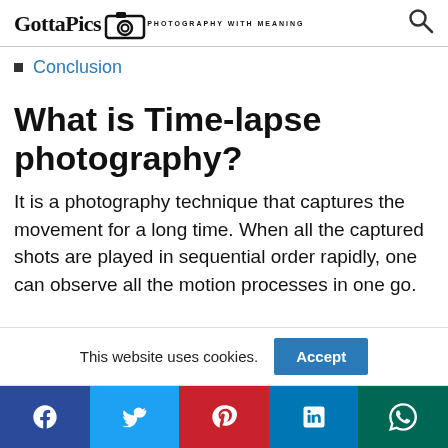GottaPics — PHOTOGRAPHY WITH MEANING
Conclusion
What is Time-lapse photography?
It is a photography technique that captures the movement for a long time. When all the captured shots are played in sequential order rapidly, one can observe all the motion processes in one go.
This website uses cookies. Accept
[Figure (other): Social media share buttons: Facebook, Twitter, Pinterest, LinkedIn, WhatsApp]